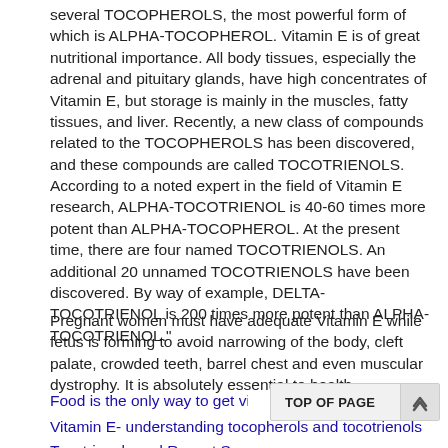several TOCOPHEROLS, the most powerful form of which is ALPHA-TOCOPHEROL. Vitamin E is of great nutritional importance. All body tissues, especially the adrenal and pituitary glands, have high concentrates of Vitamin E, but storage is mainly in the muscles, fatty tissues, and liver. Recently, a new class of compounds related to the TOCOPHEROLS has been discovered, and these compounds are called TOCOTRIENOLS. According to a noted expert in the field of Vitamin E research, ALPHA-TOCOTRIENOL is 40-60 times more potent than ALPHA-TOCOPHEROL. At the present time, there are four named TOCOTRIENOLS. An additional 20 unnamed TOCOTRIENOLS have been discovered. By way of example, DELTA-TOCOTRIENOL is 200 times more potent than ALPHA-TOCOTRIENOL."
Pregnant women must have adequate Vitamin E while fetus is forming to avoid narrowing of the body, cleft palate, crowded teeth, barrel chest and even muscular dystrophy. It is absolutely essential to health.
Food is the only way to get vitamin
Vitamin E- understanding tocopherols and tocotrienols